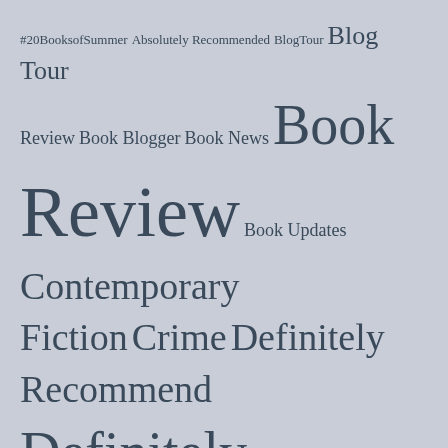[Figure (infographic): Tag cloud / word cloud featuring book blog related tags at varying font sizes on a light blue-grey background. Terms include: #20BooksofSummer, Absolutely Recommended, BlogTour, Blog Tour, Review, Book Blogger, Book News, Book Review, Book Updates, Contemporary Fiction, Crime, Definitely Recommend, Definitely Recommended, Family Life, Fantasy Fiction, First in a series, Highly Recommended, Historical Fiction, Me and My Books, Mystery, My Week In Books, Netgalley, Part of a Series, Psychological Thriller, Rachel's Random Resources, Random Things Tours, Recommended Reading, Romance, Suspense, Thriller]